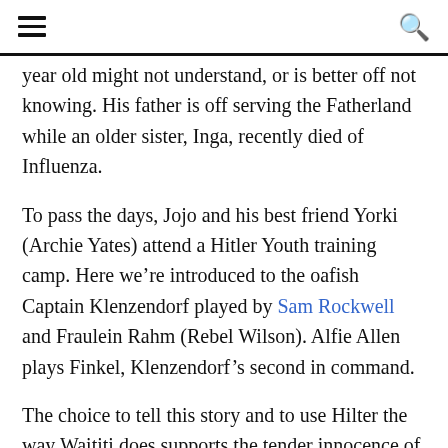≡  🔍
year old might not understand, or is better off not knowing. His father is off serving the Fatherland while an older sister, Inga, recently died of Influenza.
To pass the days, Jojo and his best friend Yorki (Archie Yates) attend a Hitler Youth training camp. Here we're introduced to the oafish Captain Klenzendorf played by Sam Rockwell and Fraulein Rahm (Rebel Wilson). Alfie Allen plays Finkel, Klenzendorf's second in command.
The choice to tell this story and to use Hilter the way Waititi does supports the tender innocence of a